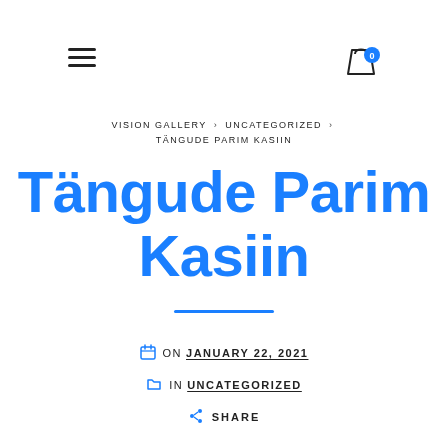≡  [cart icon]
VISION GALLERY > UNCATEGORIZED > TÄNGUDE PARIM KASIIN
Tängude Parim Kasiin
ON JANUARY 22, 2021  IN UNCATEGORIZED  SHARE